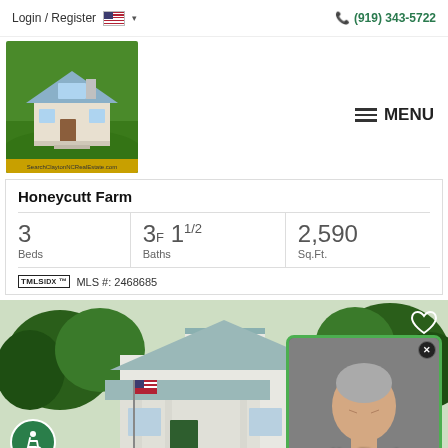Login / Register   (919) 343-5722
[Figure (logo): SearchClaytonNCRealEstate.com logo with house model on green grass background]
MENU
Honeycutt Farm
3 Beds | 3F 1 1/2 Baths | 2,590 Sq.Ft.
TMLS IDX™  MLS #: 2468685
[Figure (photo): White craftsman-style house with front porch, American flag, surrounded by green trees. Agent popup overlay with man's photo and text 'Hey There!'. Heart icon in upper right. Accessibility icon in lower left.]